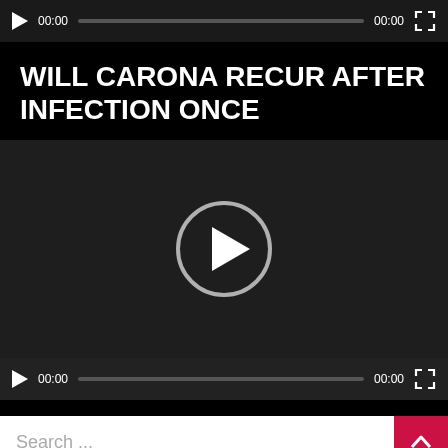[Figure (screenshot): Video player controls bar (top) showing play button, 00:00 time, progress bar, 00:00 duration, and fullscreen button]
WILL CARONA RECUR AFTER INFECTION ONCE
[Figure (screenshot): Video player with dark background, centered circular play button icon, and bottom controls bar showing play button, 00:00, progress bar, 00:00, and fullscreen button]
Search ...